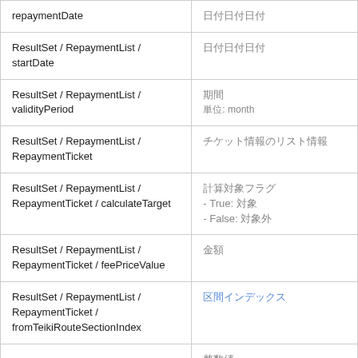| Field Path | Description |
| --- | --- |
| repaymentDate | 日付 (date) |
| ResultSet / RepaymentList / startDate | 日付 (date) |
| ResultSet / RepaymentList / validityPeriod | 期間
単位: month |
| ResultSet / RepaymentList / RepaymentTicket | チケット情報のリスト |
| ResultSet / RepaymentList / RepaymentTicket / calculateTarget | 計算対象フラグ
- True: 対象
- False: 対象外 |
| ResultSet / RepaymentList / RepaymentTicket / feePriceValue | 金額 |
| ResultSet / RepaymentList / RepaymentTicket / fromTeikiRouteSectionIndex | 区間インデックス |
|  | 整数値 |